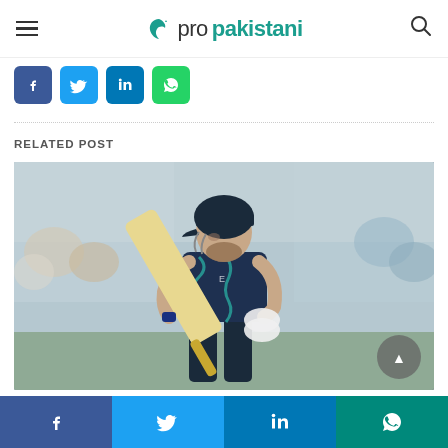propakistani
[Figure (screenshot): Social media share buttons: Facebook, Twitter, LinkedIn, WhatsApp]
RELATED POST
[Figure (photo): England cricket batsman in dark blue uniform holding a bat raised upward, looking skyward, with a blurred crowd in the background at a cricket stadium]
Facebook, Twitter, LinkedIn, WhatsApp social share bottom bar